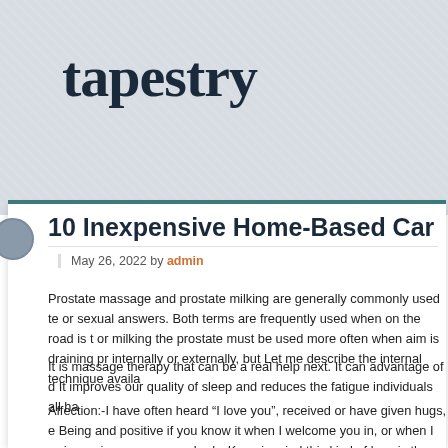tapestry · A Tumblog-style Genesis Ch
10 Inexpensive Home-Based Car
May 26, 2022 by admin
Prostate massage and prostate milking are generally commonly used te or sexual answers. Both terms are frequently used when on the road is t or milking the prostate must be used more often when aim is draining pr internally or externally, but Let me describe the internal technique availa
It is massage therapy that can be a real help next. It can advantage of d It improves our quality of sleep and reduces the fatigue individuals all ha
Affection:-I have often heard “I love you”, received or have given hugs, e Being and positive if you know it when I welcome you in, or when I arrive as i massage somebody. Keep in mind this kind of love is the Christia